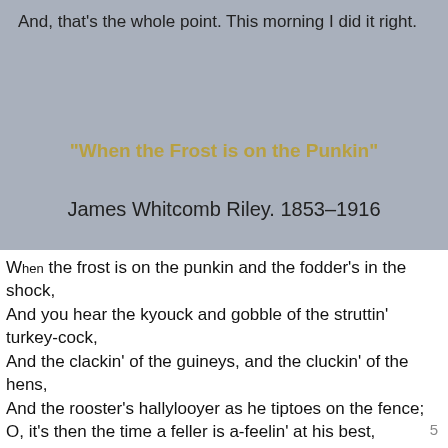And, that's the whole point.  This morning I did it right.
"When the Frost is on the Punkin"
James Whitcomb Riley. 1853–1916
When the frost is on the punkin and the fodder's in the shock,
And you hear the kyouck and gobble of the struttin' turkey-cock,
And the clackin' of the guineys, and the cluckin' of the hens,
And the rooster's hallylooyer as he tiptoes on the fence;
O, it's then the time a feller is a-feelin' at his best,
With the risin' sun to greet him from a night of peaceful rest,
As he leaves the house, bareheaded, and goes out to